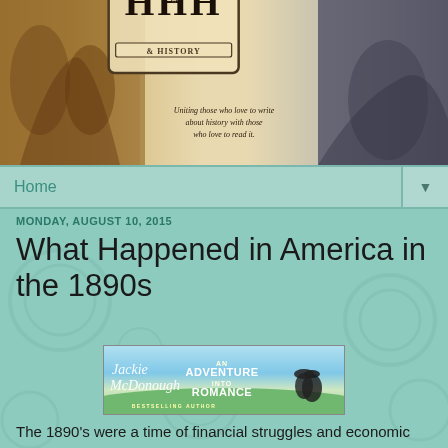[Figure (illustration): Heroes, Heroines & History website banner with HHH logo, historical paintings on left and right, subtitle 'Uniting those who love to write about history with those who love to read it.']
Home ▼
MONDAY, AUGUST 10, 2015
What Happened in America in the 1890s
[Figure (illustration): Jackie McDonough 'An Adventure Into Romance' book banner advertisement]
The 1890's were a time of financial struggles and economic